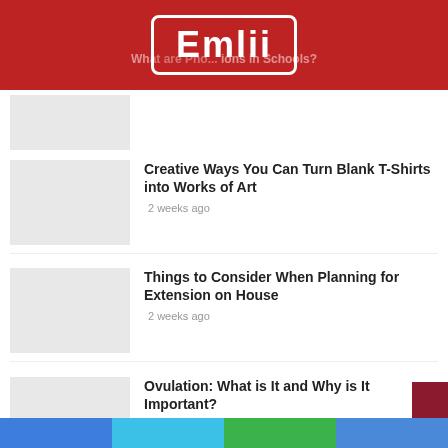Emlii
What Are Phones/Devices ions in Schools?
[Figure (screenshot): Placeholder thumbnail image (light gray)]
Creative Ways You Can Turn Blank T-Shirts into Works of Art
2 weeks ago
[Figure (screenshot): Placeholder thumbnail image (light gray)]
Things to Consider When Planning for Extension on House
2 weeks ago
[Figure (screenshot): Placeholder thumbnail image (light gray)]
Ovulation: What is It and Why is It Important?
3 weeks ago
[Figure (screenshot): Placeholder thumbnail image (light gray)]
Everything You Need to Know Before
Social share bar: Facebook, Twitter, Google+, LinkedIn